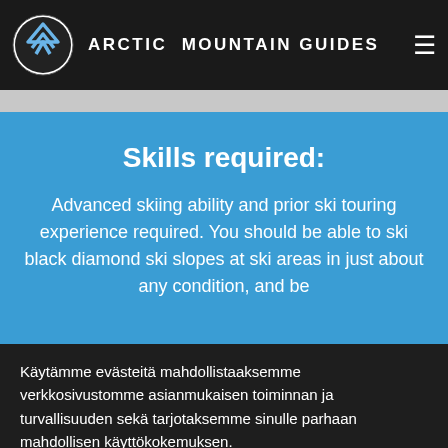ARCTIC MOUNTAIN GUIDES
snow safety tips (appropriate to your knowledge level and requirements), but the focus will be on skiing itself.
Skills required:
Advanced skiing ability and prior ski touring experience required. You should be able to ski black diamond ski slopes at ski areas in just about any condition, and be
Käytämme evästeitä mahdollistaaksemme verkkosivustomme asianmukaisen toiminnan ja turvallisuuden sekä tarjotaksemme sinulle parhaan mahdollisen käyttökokemuksen.
Hyväksy vain tarpeelliset
Hyväksy kaikki